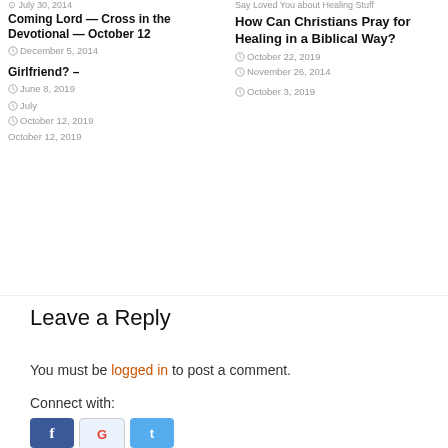Coming Lord — Cross in the Devotional — October 12 | July 30, 2014 | December 5, 2014 | October 12, 2019
Girlfriend? — June 8, 2019 | July | October 12, 2019
Say Loved You about Healing Stuff How Can Christians Pray for Healing in a Biblical Way? | October 22, 2019 | November 26, 2014 | October 3, 2019
Leave a Reply
You must be logged in to post a comment.
Connect with: